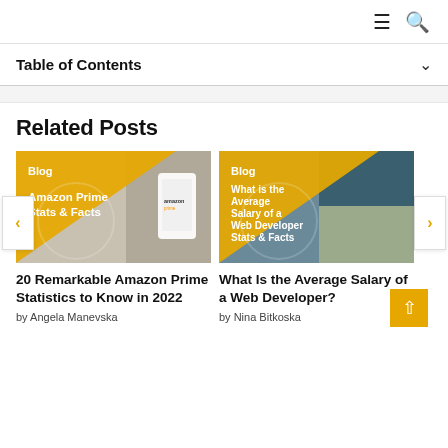≡ 🔍
Table of Contents
Related Posts
[Figure (screenshot): Blog post card image for Amazon Prime Stats & Facts with golden triangle overlay and phone showing Amazon logo]
20 Remarkable Amazon Prime Statistics to Know in 2022
by Angela Manevska
[Figure (screenshot): Blog post card image for What is the Average Salary of a Web Developer Stats & Facts with golden triangle overlay and laptop]
What Is the Average Salary of a Web Developer?
by Nina Bitkoska